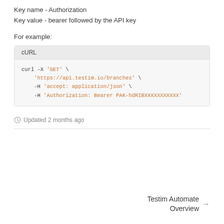Key name - Authorization
Key value - bearer followed by the API key
For example:
[Figure (screenshot): Code block with cURL tab showing curl command with GET request to https://api.testim.io/branches with Authorization Bearer header]
Updated 2 months ago
Testim Automate Overview →